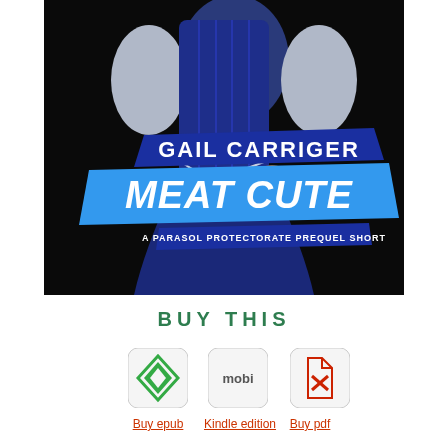[Figure (photo): Book cover for 'Meat Cute: A Parasol Protectorate Prequel Short' by Gail Carriger. Dark background with a figure in a blue corset and silver sleeves. Blue banner with author name 'GAIL CARRIGER' and large title 'MEAT CUTE'. Subtitle 'A PARASOL PROTECTORATE PREQUEL SHORT' in a darker blue banner.]
BUY THIS
[Figure (logo): epub icon - green diamond shape logo]
Buy epub
[Figure (logo): mobi icon - rounded square with 'mobi' text]
Kindle edition
[Figure (logo): PDF icon - Adobe-style red PDF logo]
Buy pdf